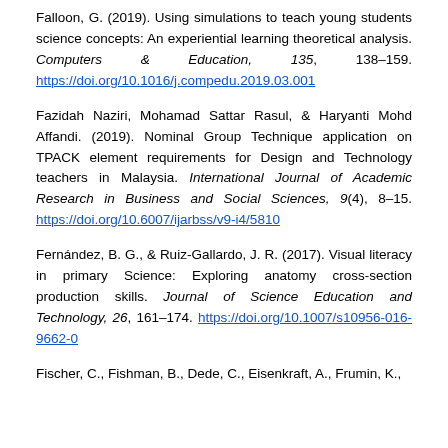Falloon, G. (2019). Using simulations to teach young students science concepts: An experiential learning theoretical analysis. Computers & Education, 135, 138–159. https://doi.org/10.1016/j.compedu.2019.03.001
Fazidah Naziri, Mohamad Sattar Rasul, & Haryanti Mohd Affandi. (2019). Nominal Group Technique application on TPACK element requirements for Design and Technology teachers in Malaysia. International Journal of Academic Research in Business and Social Sciences, 9(4), 8–15. https://doi.org/10.6007/ijarbss/v9-i4/5810
Fernández, B. G., & Ruiz-Gallardo, J. R. (2017). Visual literacy in primary Science: Exploring anatomy cross-section production skills. Journal of Science Education and Technology, 26, 161–174. https://doi.org/10.1007/s10956-016-9662-0
Fischer, C., Fishman, B., Dede, C., Eisenkraft, A., Frumin, K.,